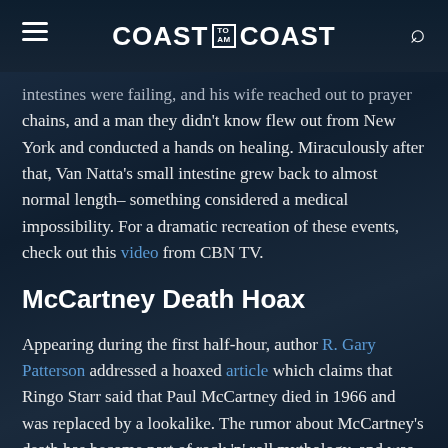COAST TO AM COAST
intestines were failing, and his wife reached out to prayer chains, and a man they didn't know flew out from New York and conducted a hands on healing. Miraculously after that, Van Natta's small intestine grew back to almost normal length– something considered a medical impossibility. For a dramatic recreation of these events, check out this video from CBN TV.
McCartney Death Hoax
Appearing during the first half-hour, author R. Gary Patterson addressed a hoaxed article which claims that Ringo Starr said that Paul McCartney died in 1966 and was replaced by a lookalike. The rumor about McCartney's death has become part of rock 'n' roll mythology, and was fueled by many of the supposed clues the Beatles themselves were said to present, such as symbolic images